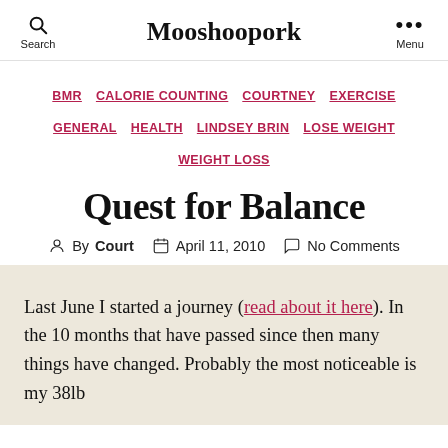Mooshoopork
BMR  CALORIE COUNTING  COURTNEY  EXERCISE  GENERAL  HEALTH  LINDSEY BRIN  LOSE WEIGHT  WEIGHT LOSS
Quest for Balance
By Court  April 11, 2010  No Comments
Last June I started a journey (read about it here). In the 10 months that have passed since then many things have changed. Probably the most noticeable is my 38lb